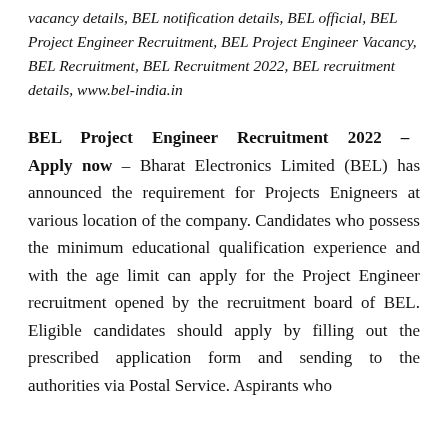vacancy details, BEL notification details, BEL official, BEL Project Engineer Recruitment, BEL Project Engineer Vacancy, BEL Recruitment, BEL Recruitment 2022, BEL recruitment details, www.bel-india.in
BEL Project Engineer Recruitment 2022 – Apply now – Bharat Electronics Limited (BEL) has announced the requirement for Projects Enigneers at various location of the company. Candidates who possess the minimum educational qualification experience and with the age limit can apply for the Project Engineer recruitment opened by the recruitment board of BEL. Eligible candidates should apply by filling out the prescribed application form and sending to the authorities via Postal Service. Aspirants who